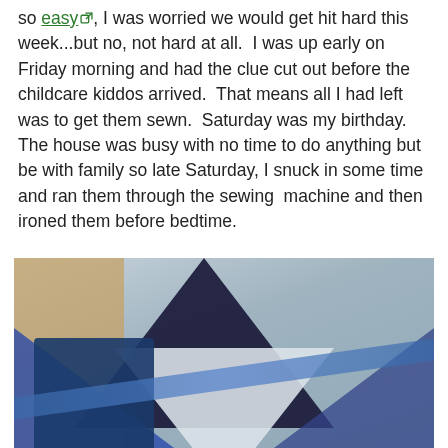so easy, I was worried we would get hit hard this week...but no, not hard at all.  I was up early on Friday morning and had the clue cut out before the childcare kiddos arrived.  That means all I had left was to get them sewn.  Saturday was my birthday.  The house was busy with no time to do anything but be with family so late Saturday, I snuck in some time and ran them through the sewing  machine and then ironed them before bedtime.
[Figure (photo): Photo of fabric triangles (blue, dark navy, floral) stacked together on a table, with a box of Bounce fabric softener in the background, appearing upside-down.]